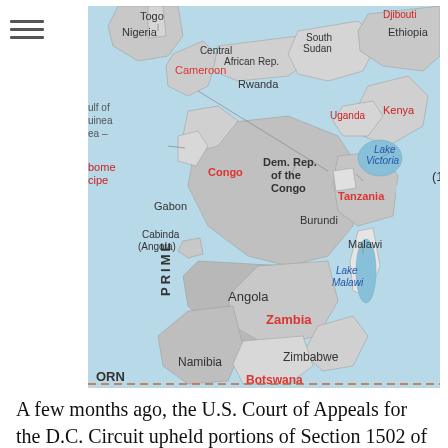[Figure (map): Map of central and southern Africa showing countries including Togo, Nigeria, Djibouti, South Sudan, Ethiopia, Cameroon, Uganda, Rwanda, Kenya, Dem. Rep. of the Congo, Congo, Tanzania, Lake Victoria, Gabon, Cabinda (Angola), Burundi, Malawi, Lake Malawi, Angola, Zambia, Namibia, Zimbabwe, Mozambique Channel, Botswana. Water bodies shown in blue, countries in various shades of gray.]
A few months ago, the U.S. Court of Appeals for the D.C. Circuit upheld portions of Section 1502 of the Dodd-Frank Wall Street Reform and Consumer Protection Act, known as the “conflicts mineral rule.” The rule, enacted by Congress in July of 2010, requires certain public companies to provide